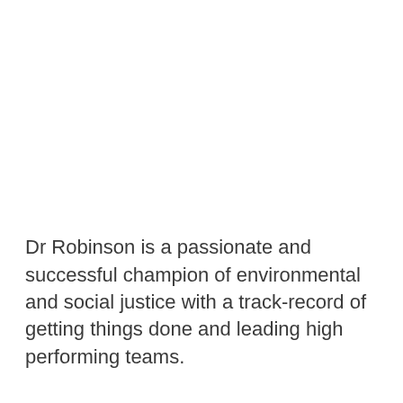Dr Robinson is a passionate and successful champion of environmental and social justice with a track-record of getting things done and leading high performing teams.